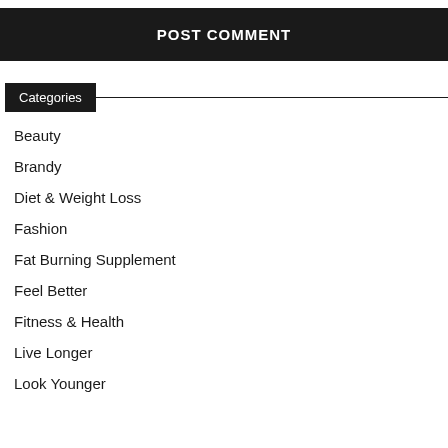POST COMMENT
Categories
Beauty
Brandy
Diet & Weight Loss
Fashion
Fat Burning Supplement
Feel Better
Fitness & Health
Live Longer
Look Younger